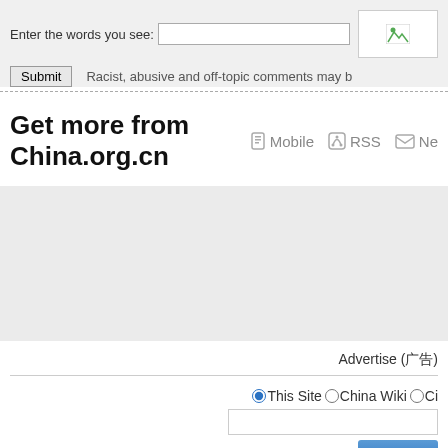Enter the words you see:
Submit  Racist, abusive and off-topic comments may b
Get more from China.org.cn    Mobile    RSS    Ne
Advertise (广告)
This Site  China Wiki  Ci
Search
China.org.cn  Copyright © China.org
Site Map | RSS |